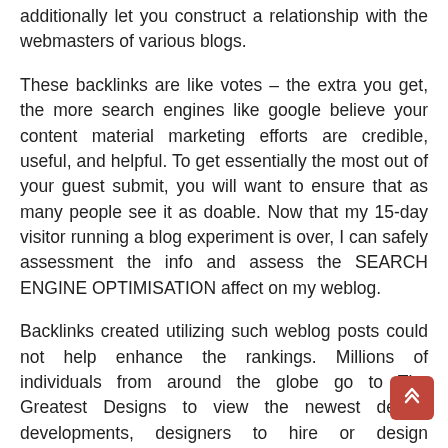additionally let you construct a relationship with the webmasters of various blogs.
These backlinks are like votes – the extra you get, the more search engines like google believe your content material marketing efforts are credible, useful, and helpful. To get essentially the most out of your guest submit, you will want to ensure that as many people see it as doable. Now that my 15-day visitor running a blog experiment is over, I can safely assessment the info and assess the SEARCH ENGINE OPTIMISATION affect on my weblog.
Backlinks created utilizing such weblog posts could not help enhance the rankings. Millions of individuals from around the globe go to The Greatest Designs to view the newest design developments, designers to hire or design inspiration. There are tons of different methods to get quality backlinks to an internet site. The organic boost that you simply receive from the guest posting service is the result of our tried and